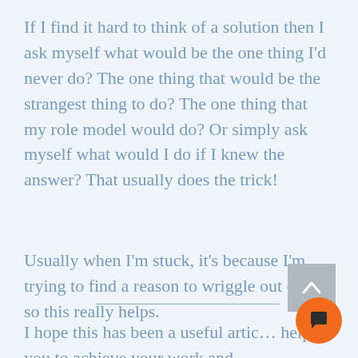If I find it hard to think of a solution then I ask myself what would be the one thing I'd never do? The one thing that would be the strangest thing to do? The one thing that my role model would do? Or simply ask myself what would I do if I knew the answer? That usually does the trick!
Usually when I'm stuck, it's because I'm trying to find a reason to wriggle out of it so this really helps.
I hope this has been a useful artic… help you to achieve your work and